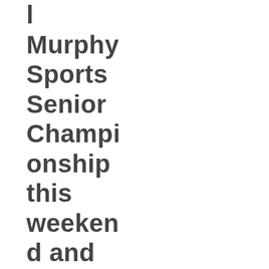l Murphy Sports Senior Championship this weekend and the draw for Round 3 is live on Sunday on Radio na Gaeltachta and on